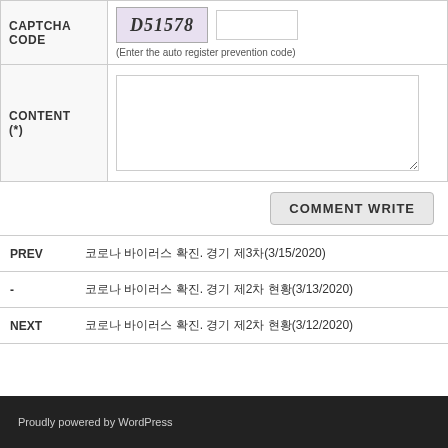| CAPTCHA CODE | D51578 [image] [input] (Enter the auto register prevention code) |
| CONTENT (*) | [textarea] |
COMMENT WRITE
| PREV | 코로나 바이러스 확진. 경기 제3차(3/15/2020) |
| - | 코로나 바이러스 확진. 경기 제2차 현황(3/13/2020) |
| NEXT | 코로나 바이러스 확진. 경기 제2차 현황(3/12/2020) |
Proudly powered by WordPress